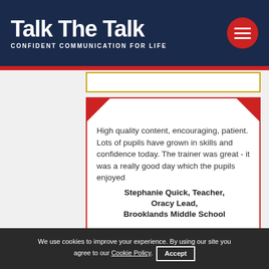Talk The Talk — CONFIDENT COMMUNICATION FOR LIFE
High quality content, encouraging, patient. Lots of pupils have grown in skills and confidence today. The trainer was great - it was a really good day which the pupils enjoyed
Stephanie Quick, Teacher, Oracy Lead, Brooklands Middle School
We use cookies to improve your experience. By using our site you agree to our Cookie Policy. Accept